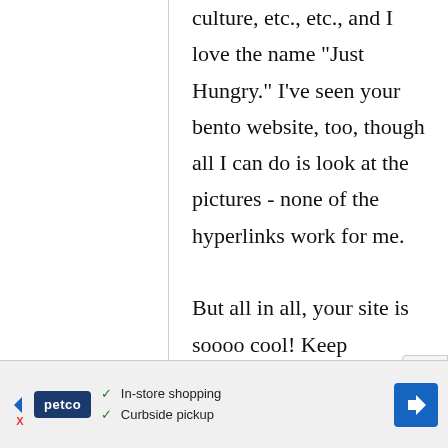culture, etc., etc., and I love the name "Just Hungry." I've seen your bento website, too, though all I can do is look at the pictures - none of the hyperlinks work for me.

But all in all, your site is soooo cool! Keep
[Figure (screenshot): Advertisement banner at bottom of page: Petco logo with 'In-store shopping' and 'Curbside pickup' checkmarks, and a blue navigation arrow icon on the right.]